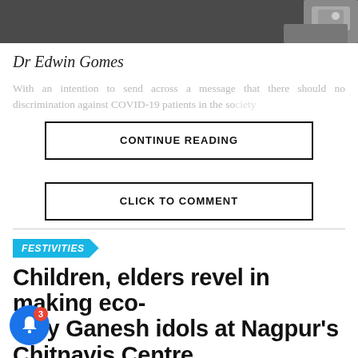[Figure (photo): Top strip showing a person's hands, dark background, partial photo cropped at top of page]
Dr Edwin Gomes
With an intention to send across a message that there should no discrimination against COVID-19 patients in the society... has been
CONTINUE READING
CLICK TO COMMENT
FESTIVITIES
Children, elders revel in making eco-ndly Ganesh idols at Nagpur's Chitnavis Centre